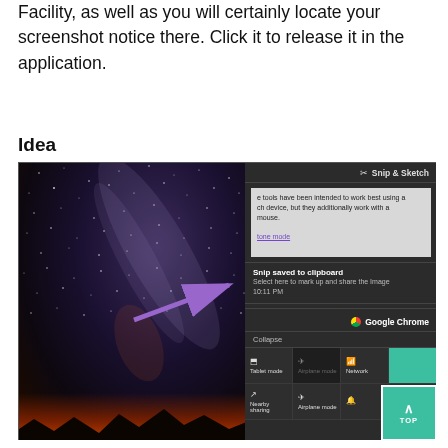Facility, as well as you will certainly locate your screenshot notice there. Click it to release it in the application.
Idea
[Figure (screenshot): A screenshot showing a Windows notification panel with Snip & Sketch notification (showing 'Snip saved to clipboard', 'Select here to mark up and share the Image 10:11 PM'), a Google Chrome entry, action tiles (Tablet mode, Airplane mode, Network, Nearby sharing, Focus assist), and a starry night sky background image on the left half with a purple arrow pointing right to the notification panel. A teal 'TOP' button is visible in the bottom right.]